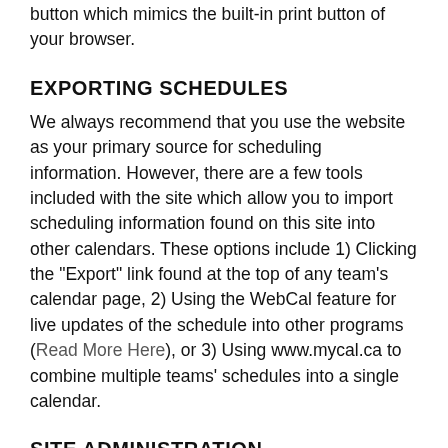button which mimics the built-in print button of your browser.
EXPORTING SCHEDULES
We always recommend that you use the website as your primary source for scheduling information. However, there are a few tools included with the site which allow you to import scheduling information found on this site into other calendars. These options include 1) Clicking the "Export" link found at the top of any team's calendar page, 2) Using the WebCal feature for live updates of the schedule into other programs (Read More Here), or 3) Using www.mycal.ca to combine multiple teams' schedules into a single calendar.
SITE ADMINISTRATION
All updates & other maintenance for this site is accomplished through a web-based administrator-only